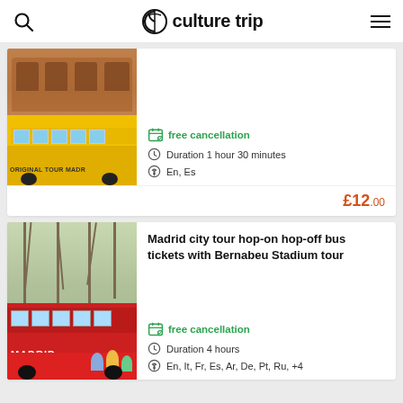culture trip
[Figure (photo): Yellow double-decker Original Tour Madrid bus in front of a large brick building (Plaza de Toros de Las Ventas)]
free cancellation
Duration 1 hour 30 minutes
En, Es
£12.00
Madrid city tour hop-on hop-off bus tickets with Bernabeu Stadium tour
[Figure (photo): Red Madrid City Tour hop-on hop-off double-decker bus with colorful cartoon decorations, parked near bare winter trees]
free cancellation
Duration 4 hours
En, It, Fr, Es, Ar, De, Pt, Ru, +4